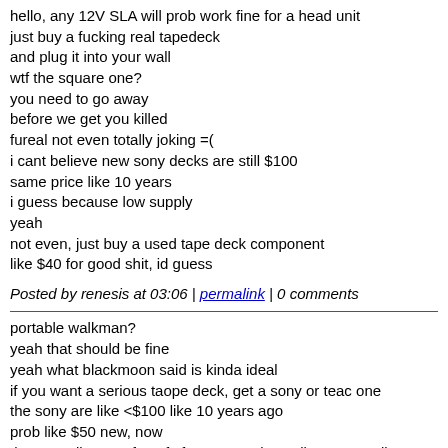hello, any 12V SLA will prob work fine for a head unit
just buy a fucking real tapedeck
and plug it into your wall
wtf the square one?
you need to go away
before we get you killed
fureal not even totally joking =(
i cant believe new sony decks are still $100
same price like 10 years
i guess because low supply
yeah
not even, just buy a used tape deck component
like $40 for good shit, id guess
Posted by renesis at 03:06 | permalink | 0 comments
portable walkman?
yeah that should be fine
yeah what blackmoon said is kinda ideal
if you want a serious taope deck, get a sony or teac one
the sony are like <$100 like 10 years ago
prob like $50 new, now
they got all sorts of goofy features, only studio types really
buy them now